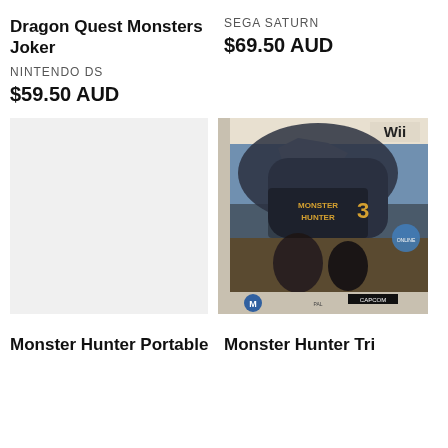Dragon Quest Monsters Joker
NINTENDO DS
$59.50 AUD
SEGA SATURN
$69.50 AUD
[Figure (photo): Empty/blank light gray placeholder image for a product listing]
[Figure (photo): Photo of Monster Hunter Tri Nintendo Wii game case showing a dragon/monster creature on the cover, rated M, PAL version by Capcom]
Monster Hunter Portable
Monster Hunter Tri